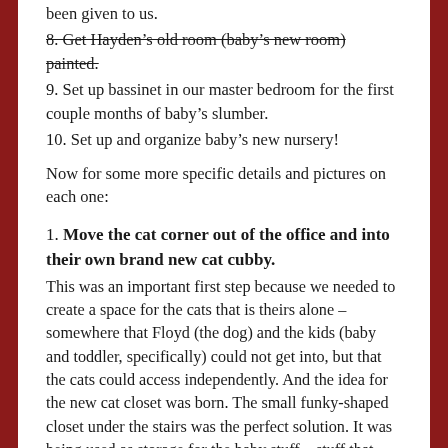been given to us.
8. Get Hayden's old room (baby's new room) painted. [strikethrough]
9. Set up bassinet in our master bedroom for the first couple months of baby's slumber.
10. Set up and organize baby's new nursery!
Now for some more specific details and pictures on each one:
1. Move the cat corner out of the office and into their own brand new cat cubby.
This was an important first step because we needed to create a space for the cats that is theirs alone – somewhere that Floyd (the dog) and the kids (baby and toddler, specifically) could not get into, but that the cats could access independently. And the idea for the new cat closet was born. The small funky-shaped closet under the stairs was the perfect solution. It was being used as storage for the baby stuff – stuff that Zara had outgrown but that we